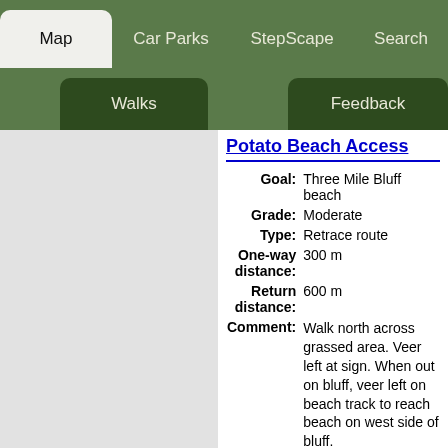Map | Car Parks | StepScape | Search | Walks | Feedback
Potato Beach Access
| Field | Value |
| --- | --- |
| Goal: | Three Mile Bluff beach |
| Grade: | Moderate |
| Type: | Retrace route |
| One-way distance: | 300 m |
| Return distance: | 600 m |
| Comment: | Walk north across grassed area. Veer left at sign. When out on bluff, veer left on beach track to reach beach on west side of bluff. |
References
Nano Solutions, Beachsafe, Surf Life Saving Australia, Potato Hill